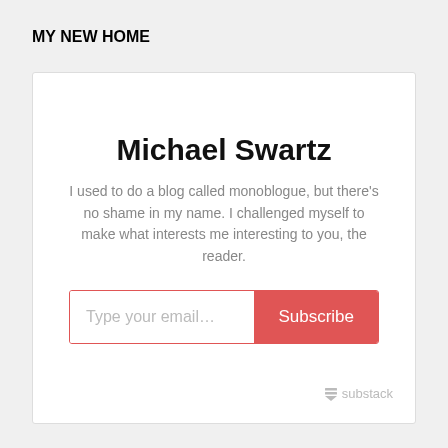MY NEW HOME
Michael Swartz
I used to do a blog called monoblogue, but there's no shame in my name. I challenged myself to make what interests me interesting to you, the reader.
[Figure (screenshot): Email subscription widget with 'Type your email...' input field and red 'Subscribe' button]
substack